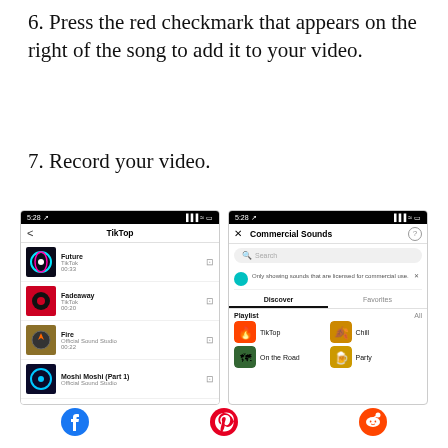6. Press the red checkmark that appears on the right of the song to add it to your video.
7. Record your video.
[Figure (screenshot): TikTok app screenshot showing TikTop playlist with songs: Future (TikTok, 00:33), Fadeaway (TikTok, 00:20), Fire (Official Sound Studio, 00:22), Moshi Moshi (Part 1) (Official Sound Studio)]
[Figure (screenshot): TikTok app screenshot showing Commercial Sounds screen with search bar, licensed sounds notice, Discover/Favorites tabs, and playlist grid including TikTop, Chill, On the Road, Party]
[Figure (logo): Facebook logo icon]
[Figure (logo): Pinterest logo icon]
[Figure (logo): Reddit logo icon]